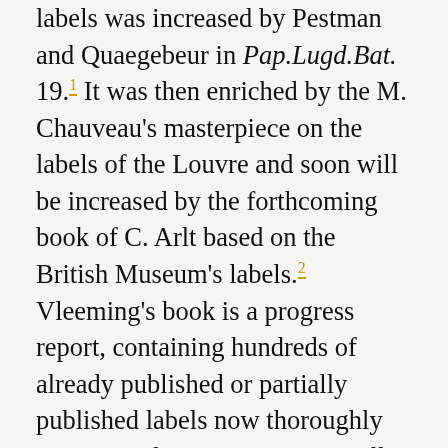labels was increased by Pestman and Quaegebeur in Pap.Lugd.Bat. 19.1 It was then enriched by the M. Chauveau's masterpiece on the labels of the Louvre and soon will be increased by the forthcoming book of C. Arlt based on the British Museum's labels.2 Vleeming's book is a progress report, containing hundreds of already published or partially published labels now thoroughly commented on. Moreover, it will also be a definitive scientific tool for the study of this large corpus, comprehensively addressing problems of chronology, paleography, anthroponomy, toponymy, and more. In addition, some one hundred new documents mainly coming from Oxford, London and Warsaw are added to the corpus (conveniently listed on pp. 746-747). For